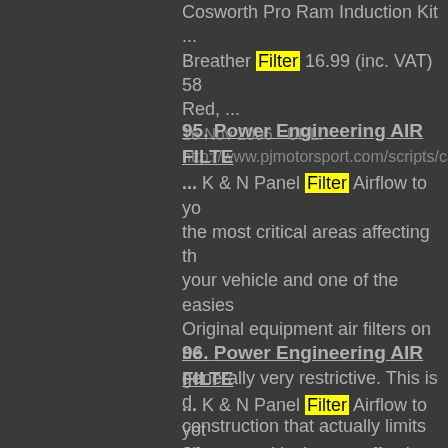Cosworth Pro Ram Induction Kit ... Breather Filter 16.99 (inc. VAT) 58 Red, ... 16 Nov 2006 - URL: http://www.pjmotorsport.com/scripts/cat_pa
95. Power Engineering AIR FILTE ... K & N Panel Filter Airflow to your vehicle and one of the easiest Original equipment air filters on generally very restrictive. This is construction that actually limits en s why we recommend K & N, the technology as proven by their head off-road racing. Price: 34. 47 (40. 17.5 ... 30 Dec 2005 - URL: http://www.powerengineering.co.uk/acatal
96. Power Engineering AIR FILTE ... K & N Panel Filter Airflow to your the most critical areas affecting the your vehicle and one of the easiest Original equipment air filters on generally very restrictive. This is construction that actually limits